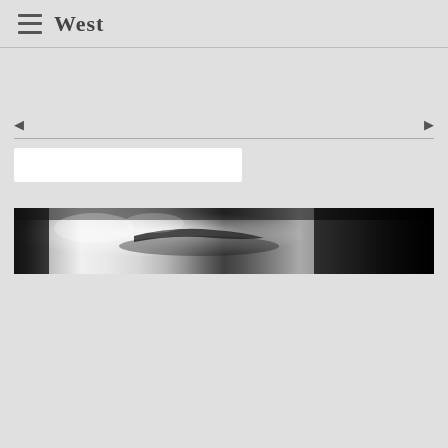West
[Figure (screenshot): Navigation bar with left arrow, horizontal divider line, search/input box, and right arrow navigation element]
[Figure (photo): Black and white close-up photo strip showing a person's forehead and eyebrow area, high contrast monochrome image]